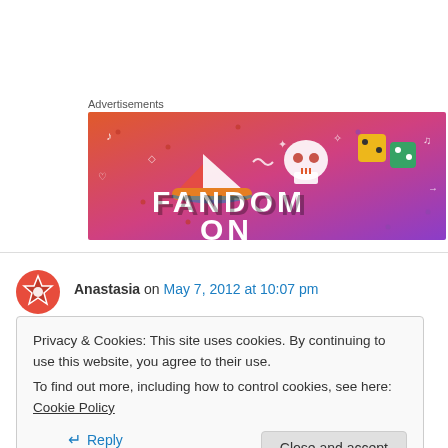Advertisements
[Figure (illustration): Fandom advertisement banner with colorful gradient background (orange to purple), featuring illustrated icons (sailboat, skull, dice, musical notes, hearts, arrows) and bold text reading 'FANDOM ON']
Anastasia on May 7, 2012 at 10:07 pm
Privacy & Cookies: This site uses cookies. By continuing to use this website, you agree to their use.
To find out more, including how to control cookies, see here: Cookie Policy
Close and accept
↵ Reply